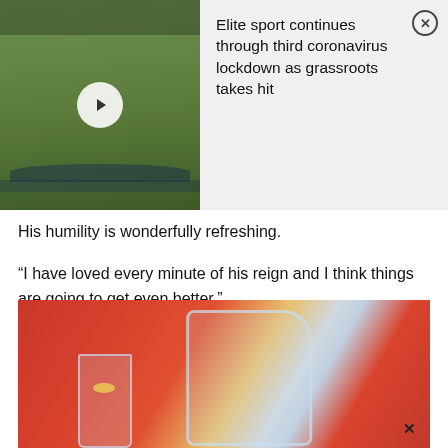[Figure (screenshot): Video promo card: a soccer/football team training on a grass field with a play button overlay on the left thumbnail, and article title on the right with a close (X) button]
Elite sport continues through third coronavirus lockdown as grassroots takes hit
His humility is wonderfully refreshing.
“I have loved every minute of his reign and I think things are going to get even better.”
You May Like
Sponsored Links by Taboola
[Figure (photo): Person in red outfit pouring a clear liquid with lemon slices from a glass pitcher into a glass, outdoors setting]